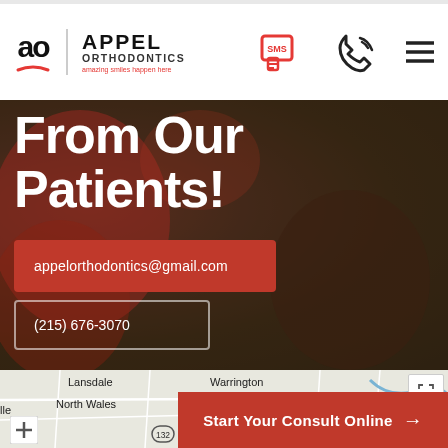[Figure (logo): Appel Orthodontics logo with 'ao' monogram and red smile underline, navigation bar with SMS icon, phone icon, and hamburger menu]
From Our Patients!
appelorthodontics@gmail.com
(215) 676-3070
[Figure (map): Google Maps snippet showing Lansdale, North Wales, Warrington, Newtown, route 132, route 202 area in Pennsylvania]
Start Your Consult Online →